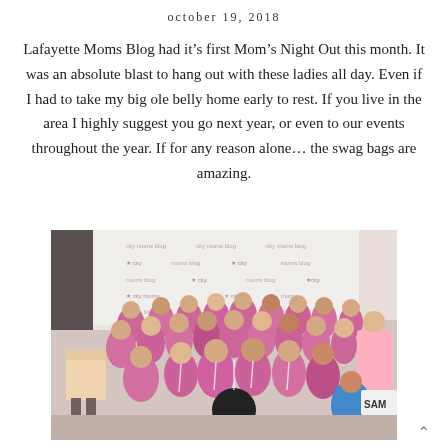october 19, 2018
Lafayette Moms Blog had it’s first Mom’s Night Out this month. It was an absolute blast to hang out with these ladies all day. Even if I had to take my big ole belly home early to rest. If you live in the area I highly suggest you go next year, or even to our events throughout the year. If for any reason alone… the swag bags are amazing.
[Figure (photo): Group photo of approximately 25 women wearing matching pink/purple t-shirts posed together in front of a City Moms Blog step-and-repeat banner backdrop. They are in multiple rows, some seated, some standing. A woman in a floral skirt is on the left side and someone in a blue dress is on the right side front.]